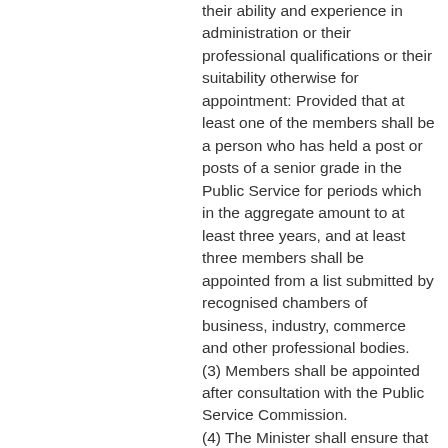their ability and experience in administration or their professional qualifications or their suitability otherwise for appointment: Provided that at least one of the members shall be a person who has held a post or posts of a senior grade in the Public Service for periods which in the aggregate amount to at least three years, and at least three members shall be appointed from a list submitted by recognised chambers of business, industry, commerce and other professional bodies. (3) Members shall be appointed after consultation with the Public Service Commission. (4) The Minister shall ensure that the appointment of every member is notified in the Gazette.